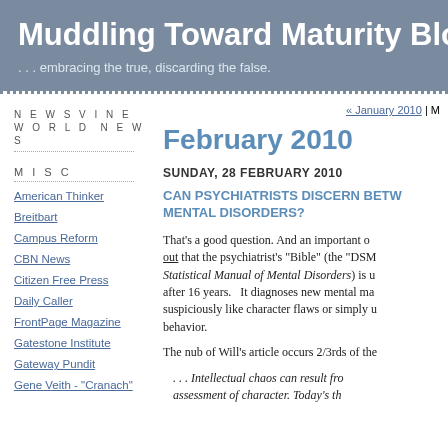Muddling Toward Maturity Blog
. . . embracing the true, discarding the false.
February 2010
« January 2010 | M
SUNDAY, 28 FEBRUARY 2010
CAN PSYCHIATRISTS DISCERN BETW... MENTAL DISORDERS?
That's a good question.  And an important o... out that the psychiatrist's "Bible" (the "DSM... Statistical Manual of Mental Disorders) is u... after 16 years.   It diagnoses new mental ma... suspiciously like character flaws or simply u... behavior.
The nub of Will's article occurs 2/3rds of the...
. . . Intellectual chaos can result fro... assessment of character. Today's th...
NEWSVINE
WORLD NEWS
MISC
American Thinker
Breitbart
Campus Reform
CBN News
Citizen Free Press
Daily Caller
FrontPage Magazine
Gatestone Institute
Gateway Pundit
Gene Veith - "Cranach"